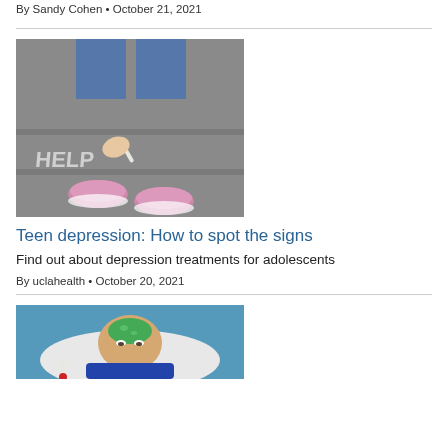By Sandy Cohen • October 21, 2021
[Figure (photo): Person writing HELP on steps in chalk, wearing pink sneakers]
Teen depression: How to spot the signs
Find out about depression treatments for adolescents
By uclahealth • October 20, 2021
[Figure (photo): Child lying on pillow with green gel pack on forehead, looking sick]